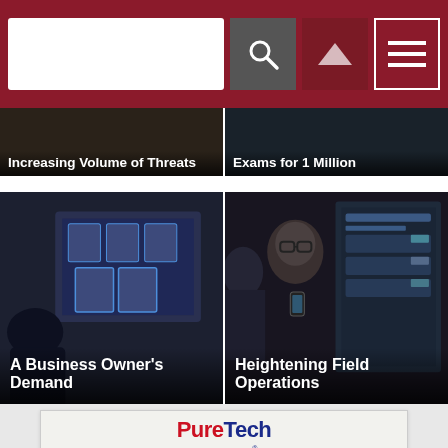Navigation bar with search box, search button, arrow button, menu button
Increasing Volume of Threats
Exams for 1 Million
[Figure (photo): Facial recognition system showing multiple faces detected on a screen]
A Business Owner's Demand
[Figure (photo): Two people looking at a data dashboard screen in a dark environment]
Heightening Field Operations
[Figure (infographic): PureTech Systems advertisement with red and blue logo, DETECT VERIFY DETER tagline, and text about C4ISR software that detects tracks and identifies land and aerial targets]